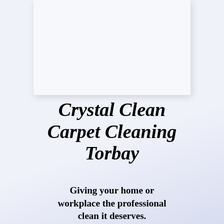[Figure (other): White rectangular image placeholder with light shadow on a light blue-grey background]
Crystal Clean Carpet Cleaning Torbay
Giving your home or workplace the professional clean it deserves.